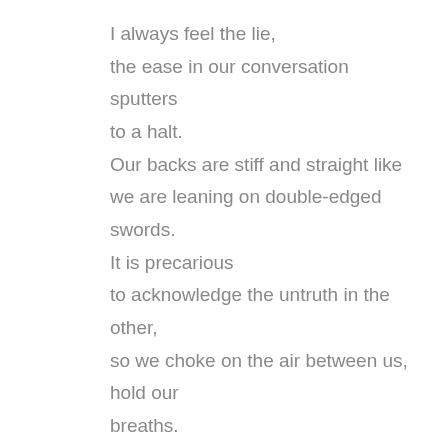I always feel the lie,
the ease in our conversation sputters
to a halt.
Our backs are stiff and straight like
we are leaning on double-edged swords.
It is precarious
to acknowledge the untruth in the other,
so we choke on the air between us, hold our
breaths.
We must have shaken hands on it when I
was in the womb—

I remember coming home from school
to find her on the floor, legs neatly beneath